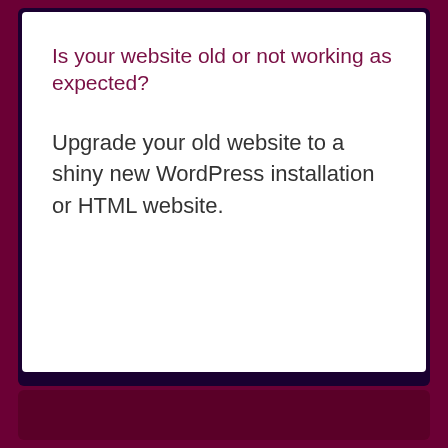Is your website old or not working as expected?
Upgrade your old website to a shiny new WordPress installation or HTML website.